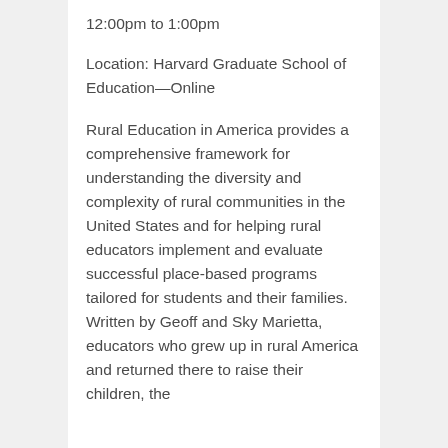12:00pm to 1:00pm
Location: Harvard Graduate School of Education—Online
Rural Education in America provides a comprehensive framework for understanding the diversity and complexity of rural communities in the United States and for helping rural educators implement and evaluate successful place-based programs tailored for students and their families. Written by Geoff and Sky Marietta, educators who grew up in rural America and returned there to raise their children, the